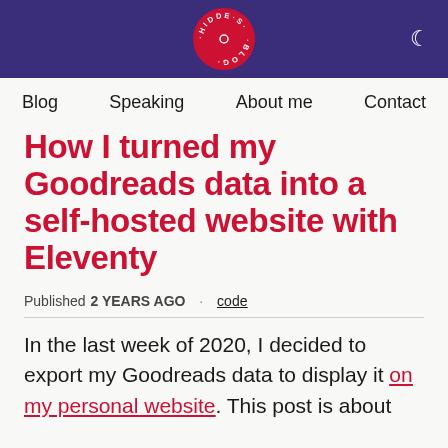Hidde's Blog — navigation: Blog, Speaking, About me, Contact
How I turned my Goodreads data into a self-hosted website with Eleventy
Published 2 YEARS AGO · code
In the last week of 2020, I decided to export my Goodreads data to display it on my personal website. This post is about